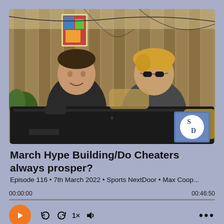[Figure (photo): Two young men sitting outdoors in front of a wooden fence. One on the left wears a dark t-shirt, one on the right wears a tank top with sunglasses. They are positioned behind a large flat-screen TV showing its back. A logo with letters SD is visible in the lower right.]
March Hype Building/Do Cheaters always prosper?
Episode 116 • 7th March 2022 • Sports NextDoor • Max Coop...
00:00:00
00:46:50